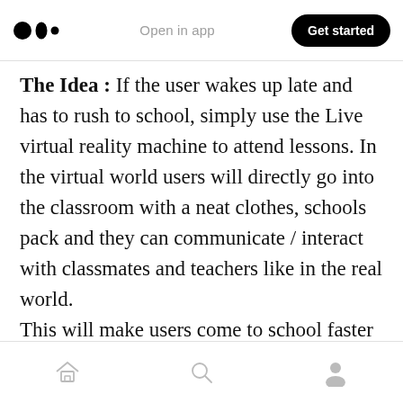Open in app | Get started
The Idea : If the user wakes up late and has to rush to school, simply use the Live virtual reality machine to attend lessons. In the virtual world users will directly go into the classroom with a neat clothes, schools pack and they can communicate / interact with classmates and teachers like in the real world.
This will make users come to school faster without having to travel and be able to do lessons from home.
Home | Search | Profile